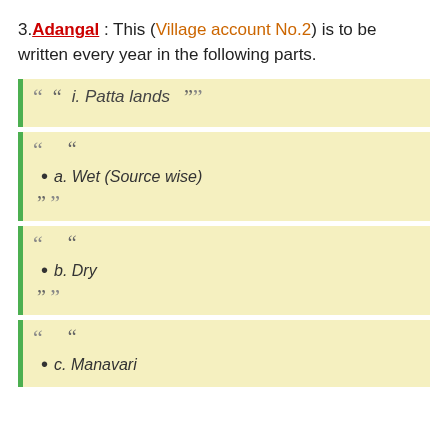3. Adangal : This (Village account No.2) is to be written every year in the following parts.
i. Patta lands
a. Wet (Source wise)
b. Dry
c. Manavari